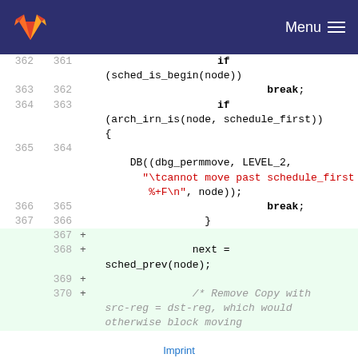GitLab Menu
[Figure (screenshot): Code diff view showing lines 361-370 of a C source file with added lines highlighted in green. Lines include if statements, break keywords, DB macro with string argument in red, and a comment about removing Copy with src-reg = dst-reg.]
Imprint